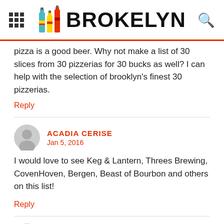BROKELYN
pizza is a good beer. Why not make a list of 30 slices from 30 pizzerias for 30 bucks as well? I can help with the selection of brooklyn's finest 30 pizzerias.
Reply
ACADIA CERISE
Jan 5, 2016
I would love to see Keg & Lantern, Threes Brewing, CovenHoven, Bergen, Beast of Bourbon and others on this list!
Reply
KRISTIN
Jan 5, 2016